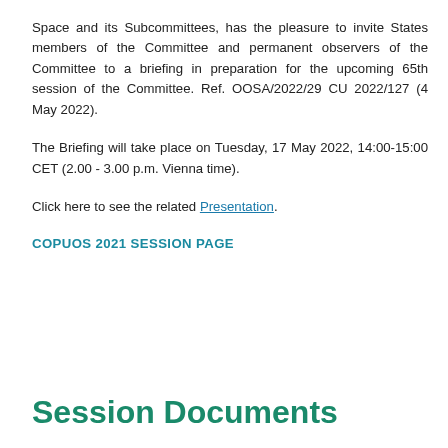Space and its Subcommittees, has the pleasure to invite States members of the Committee and permanent observers of the Committee to a briefing in preparation for the upcoming 65th session of the Committee. Ref. OOSA/2022/29 CU 2022/127 (4 May 2022).
The Briefing will take place on Tuesday, 17 May 2022, 14:00-15:00 CET (2.00 - 3.00 p.m. Vienna time).
Click here to see the related Presentation.
COPUOS 2021 SESSION PAGE
Session Documents